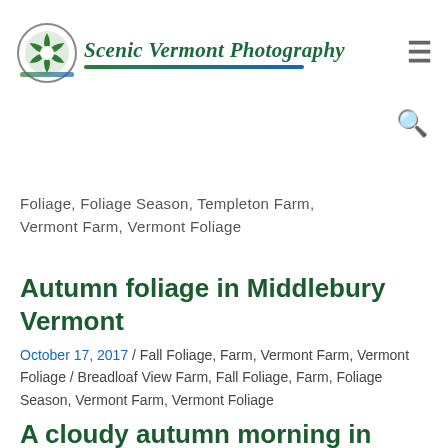Scenic Vermont Photography
Foliage, Foliage Season, Templeton Farm, Vermont Farm, Vermont Foliage
Autumn foliage in Middlebury Vermont
October 17, 2017 / Fall Foliage, Farm, Vermont Farm, Vermont Foliage / Breadloaf View Farm, Fall Foliage, Farm, Foliage Season, Vermont Farm, Vermont Foliage
A cloudy autumn morning in